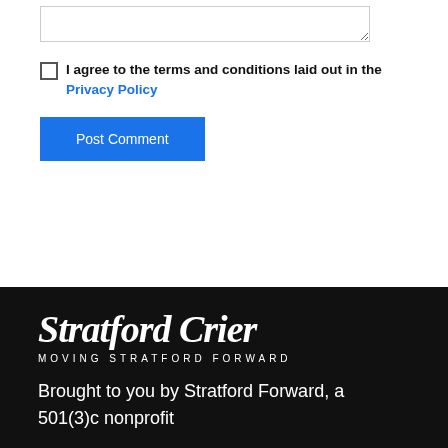[Figure (screenshot): Textarea input box (empty, with resize handle)]
I agree to the terms and conditions laid out in the Privacy Policy
Post Comment
[Figure (logo): Stratford Crier logo — white blackletter logotype on black background with tagline MOVING STRATFORD FORWARD]
Brought to you by Stratford Forward, a 501(3)c nonprofit